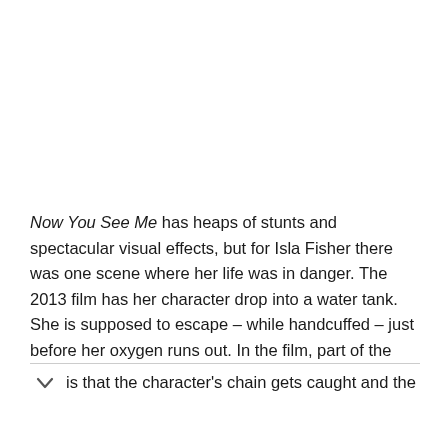Now You See Me has heaps of stunts and spectacular visual effects, but for Isla Fisher there was one scene where her life was in danger. The 2013 film has her character drop into a water tank. She is supposed to escape – while handcuffed – just before her oxygen runs out. In the film, part of the [dropdown] is that the character's chain gets caught and the